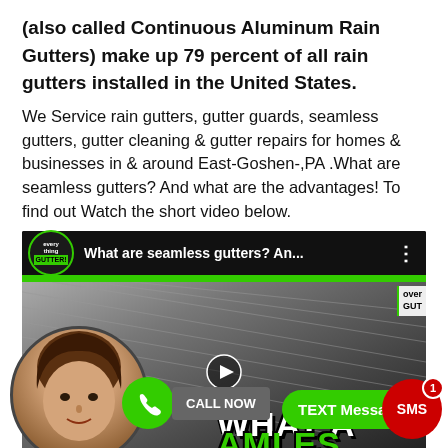(also called Continuous Aluminum Rain Gutters) make up 79 percent of all rain gutters installed in the United States.
We Service rain gutters, gutter guards, seamless gutters, gutter cleaning & gutter repairs for homes & businesses in & around East-Goshen-,PA .What are seamless gutters? And what are the advantages! To find out Watch the short video below.
[Figure (screenshot): Embedded YouTube video thumbnail showing a woman's face in a circular frame, with the title 'What are seamless gutters? An...' in the top bar, a green stripe, rooftop imagery in background, CALL NOW button with green phone circle, TEXT Message green button, and SMS red badge with notification count 1.]